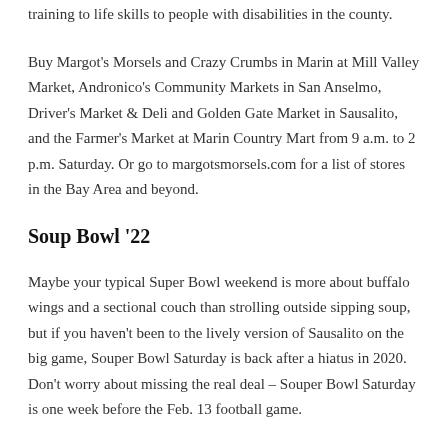training to life skills to people with disabilities in the county.
Buy Margot’s Morsels and Crazy Crumbs in Marin at Mill Valley Market, Andronico’s Community Markets in San Anselmo, Driver’s Market & Deli and Golden Gate Market in Sausalito, and the Farmer’s Market at Marin Country Mart from 9 a.m. to 2 p.m. Saturday. Or go to margotsmorsels.com for a list of stores in the Bay Area and beyond.
Soup Bowl ’22
Maybe your typical Super Bowl weekend is more about buffalo wings and a sectional couch than strolling outside sipping soup, but if you haven’t been to the lively version of Sausalito on the big game, Souper Bowl Saturday is back after a hiatus in 2020. Don’t worry about missing the real deal – Souper Bowl Saturday is one week before the Feb. 13 football game.
Purchase a wristband for $10 in advance or at the event, from 1-5